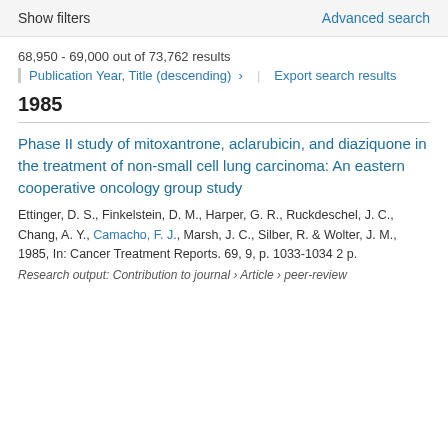Show filters | Advanced search
68,950 - 69,000 out of 73,762 results
Publication Year, Title (descending) › | Export search results
1985
Phase II study of mitoxantrone, aclarubicin, and diaziquone in the treatment of non-small cell lung carcinoma: An eastern cooperative oncology group study
Ettinger, D. S., Finkelstein, D. M., Harper, G. R., Ruckdeschel, J. C., Chang, A. Y., Camacho, F. J., Marsh, J. C., Silber, R. & Wolter, J. M., 1985, In: Cancer Treatment Reports. 69, 9, p. 1033-1034 2 p.
Research output: Contribution to journal › Article › peer-review